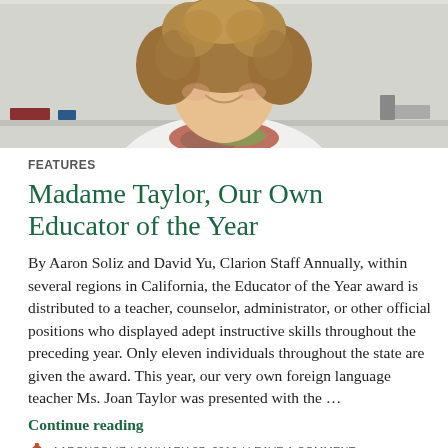[Figure (photo): Photo of a smiling woman with curly hair and a colorful scarf, standing in front of a whiteboard in a classroom]
FEATURES
Madame Taylor, Our Own Educator of the Year
By Aaron Soliz and David Yu, Clarion Staff Annually, within several regions in California, the Educator of the Year award is distributed to a teacher, counselor, administrator, or other official positions who displayed adept instructive skills throughout the preceding year. Only eleven individuals throughout the state are given the award. This year, our very own foreign language teacher Ms. Joan Taylor was presented with the …
Continue reading
AARONSOLIZ / JANUARY 27, 2016 / LEAVE A COMMENT